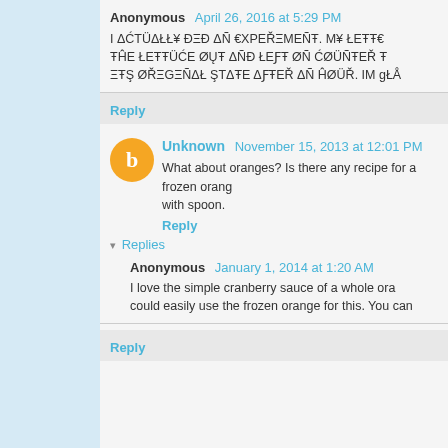Anonymous April 26, 2016 at 5:29 PM
I ΔĆTÜΔŁŁ¥ ĐΞĐ ΔÑ €ΧPΕŘΞMΕÑŦ. M¥ ŁΕŦŦ€ ŦĤΕ ŁΕŦŦÜĆΕ ØŲŦ ΔÑĐ ŁΕƑŦ ØÑ ĆØÜÑŦΕŘ Ŧ ΞŦŞ ØŘΞGΞÑΔŁ ŞTΔŦΕ ΔƑŦΕŘ ΔÑ ĤØÜŘ. IM gŁÅ
Reply
Unknown November 15, 2013 at 12:01 PM
What about oranges? Is there any recipe for a frozen orang with spoon.
Reply
Replies
Anonymous January 1, 2014 at 1:20 AM
I love the simple cranberry sauce of a whole ora could easily use the frozen orange for this. You can
Reply